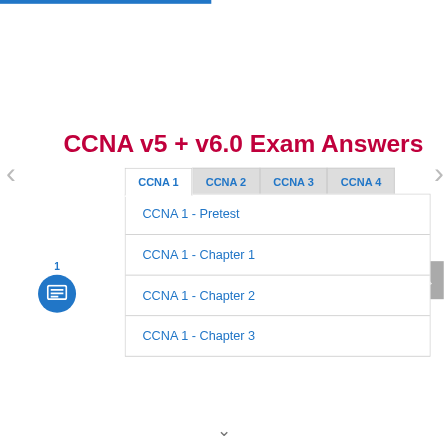CCNA v5 + v6.0 Exam Answers
CCNA 1
CCNA 2
CCNA 3
CCNA 4
CCNA 1 - Pretest
CCNA 1 - Chapter 1
CCNA 1 - Chapter 2
CCNA 1 - Chapter 3